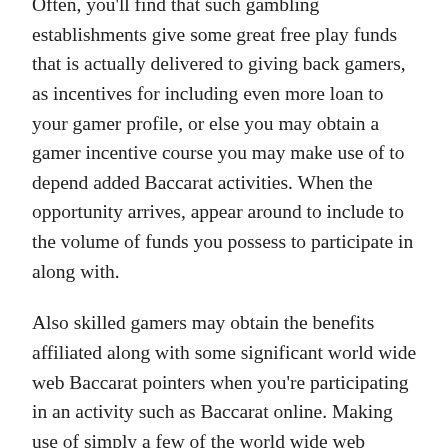Often, you'll find that such gambling establishments give some great free play funds that is actually delivered to giving back gamers, as incentives for including even more loan to your gamer profile, or else you may obtain a gamer incentive course you may make use of to depend added Baccarat activities. When the opportunity arrives, appear around to include to the volume of funds you possess to participate in along with.
Also skilled gamers may obtain the benefits affiliated along with some significant world wide web Baccarat pointers when you're participating in an activity such as Baccarat online. Making use of simply a few of the world wide web Baccarat suggestions revealed listed below can easily aid you enrich just how much pleasure that you really possess while participating in. When researching all the web Baccarat ideas provided below having said that, bear in mind that although key Baccarat having fun can easily boost your possibility to succeed, this in no other way guarantees that you are going to succeed along with every